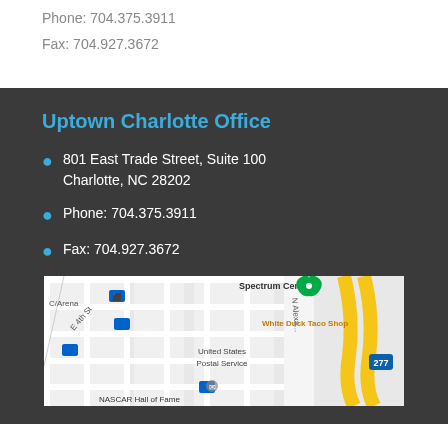Phone: 704.375.3911
Fax: 704.927.3672
Uptown Charlotte Office
801 East Trade Street, Suite 100
Charlotte, NC 28202
Phone: 704.375.3911
Fax: 704.927.3672
[Figure (map): Google Maps view of Uptown Charlotte area showing Spectrum Center, White Duck Taco Shop, United States Postal Service, E 4th St, N Alexander St, I-277, and NASCAR Hall of Fame]